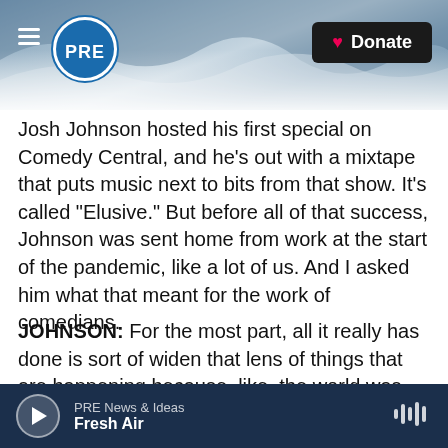[Figure (screenshot): PRE radio website header with ocean wave background image, hamburger menu icon, PRE circular logo, and black Donate button with heart icon]
Josh Johnson hosted his first special on Comedy Central, and he's out with a mixtape that puts music next to bits from that show. It's called "Elusive." But before all of that success, Johnson was sent home from work at the start of the pandemic, like a lot of us. And I asked him what that meant for the work of comedians.
JOHNSON: For the most part, all it really has done is sort of widen that lens of things that are happening because, like, the world was always crazy, and lots of things were always happening. It's just that we were so busy that we could ignore
PRE News & Ideas  Fresh Air